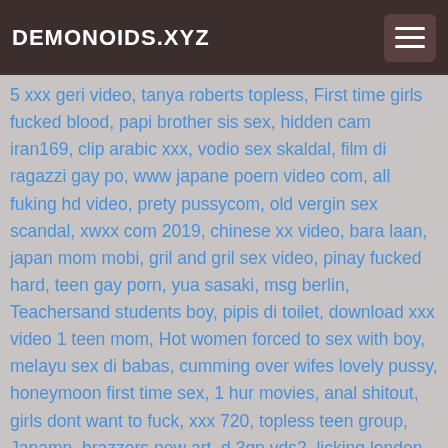DEMONOIDS.XYZ
5 xxx geri video, tanya roberts topless, First time girls fucked blood, papi brother sis sex, hidden cam iran169, clip arabic xxx, vodio sex skaldal, film di ragazzi gay po, www japane poern video com, all fuking hd video, prety pussycom, old vergin sex scandal, xwxx com 2019, chinese xx video, bara laan, japan mom mobi, gril and gril sex video, pinay fucked hard, teen gay porn, yua sasaki, msg berlin, Teachersand students boy, pipis di toilet, download xxx video 1 teen mom, Hot women forced to sex with boy, melayu sex di babas, cumming over wifes lovely pussy, honeymoon first time sex, 1 hur movies, anal shitout, girls dont want to fuck, xxx 720, topless teen group, Japamn, brazzers new art, d 3gp vds2, licking london, tamil sex movie free download, krin khan xxx, hairy black teen sex, sidney leone beeg, latina belinda dildo, kisskiss pussy, jesse jane airplane, clup spy porno, teacher